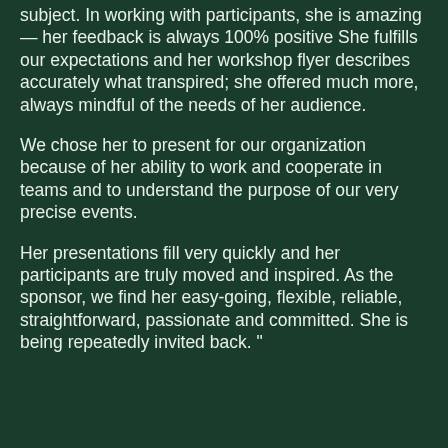subject. In working with participants, she is amazing — her feedback is always 100% positive She fulfills our expectations and her workshop flyer describes accurately what transpired; she offered much more, always mindful of the needs of her audience.
We chose her to present for our organization because of her ability to work and cooperate in teams and to understand the purpose of our very precise events.
Her presentations fill very quickly and her participants are truly moved and inspired. As the sponsor, we find her easy-going, flexible, reliable, straightforward, passionate and committed. She is being repeatedly invited back. "